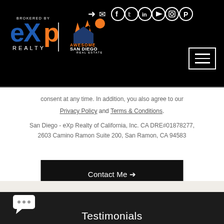[Figure (logo): eXp Realty logo (white text on black background) and Awesome San Diego Real Estate logo with palm trees and house]
[Figure (infographic): Social media icons row: login arrow, email, Facebook, Twitter, LinkedIn, YouTube, Instagram, Pinterest — white circle outlines on black background]
[Figure (infographic): Hamburger menu button — three white horizontal lines in a white-bordered square]
consent at any time. In addition, you also agree to our
Privacy Policy and Terms & Conditions.
San Diego - eXp Realty of California, Inc. CA DRE#01878277, 2603 Camino Ramon Suite 200, San Ramon, CA 94583
[Figure (infographic): Black button with white text 'Contact Me →']
[Figure (infographic): White speech bubble / chat icon with three dots on dark background]
Testimonials